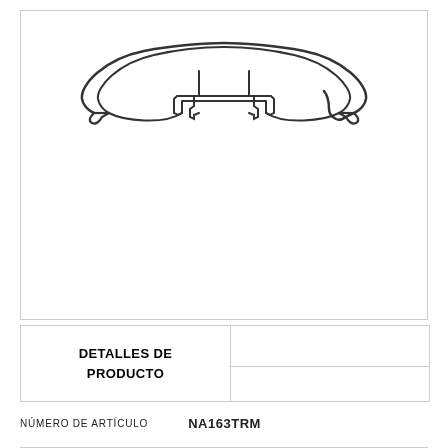[Figure (engineering-diagram): Cross-section profile of a T-shaped trim molding strip with a wide arched top and two downward projecting feet, shown as a technical outline drawing.]
DETALLES DE PRODUCTO
NÚMERO DE ARTÍCULO    NA163TRM